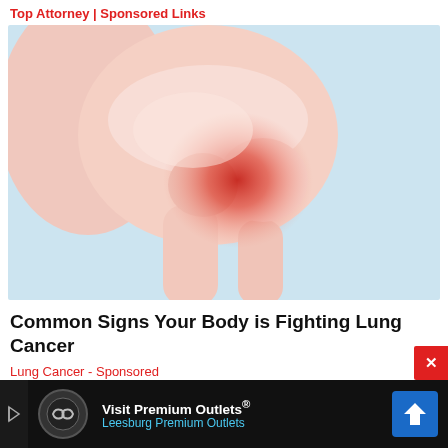Top Attorney | Sponsored Links
[Figure (illustration): Medical illustration of a human shoulder joint with inflammation shown as a glowing red spot on the joint area, against a light blue background.]
Common Signs Your Body is Fighting Lung Cancer
Lung Cancer - Sponsored
[Figure (infographic): Bottom advertisement banner with dark background showing 'Visit Premium Outlets® Leesburg Premium Outlets' with a circular logo and blue navigation arrow icon.]